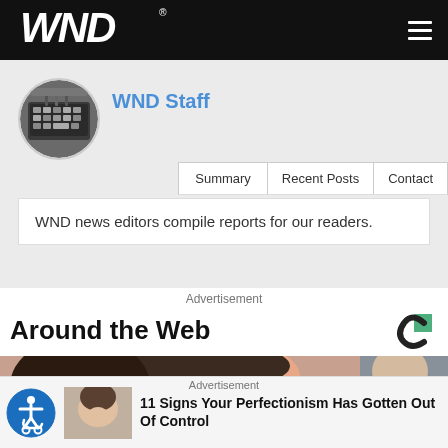WND
[Figure (photo): WND Staff author avatar showing a typewriter keyboard in circular crop]
WND Staff
Summary | Recent Posts | Contact
WND news editors compile reports for our readers.
Advertisement
Around the Web
[Figure (photo): Photo showing a woman's face close-up]
Advertisement
[Figure (photo): Thumbnail image of a person making a face]
11 Signs Your Perfectionism Has Gotten Out Of Control